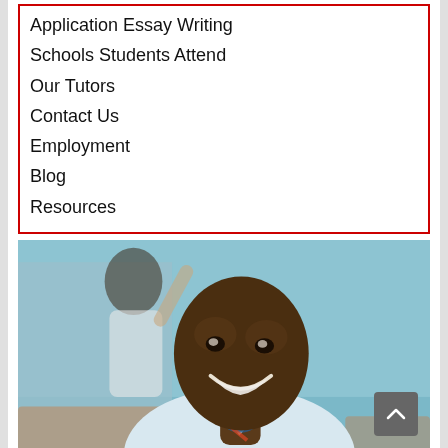Application Essay Writing
Schools Students Attend
Our Tutors
Contact Us
Employment
Blog
Resources
[Figure (photo): A smiling young African school boy in a light blue school uniform shirt, sitting at a desk with a pencil in hand, looking at the camera. In the background, another student is raising their hand in a classroom with blue walls.]